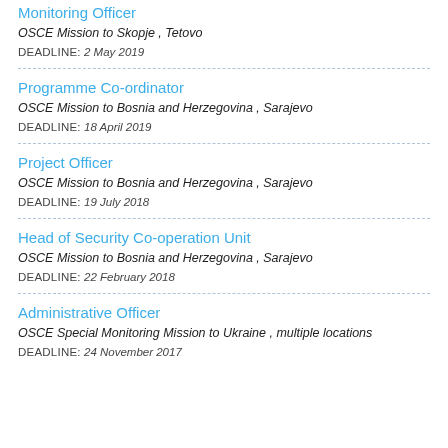Monitoring Officer
OSCE Mission to Skopje , Tetovo
DEADLINE: 2 May 2019
Programme Co-ordinator
OSCE Mission to Bosnia and Herzegovina , Sarajevo
DEADLINE: 18 April 2019
Project Officer
OSCE Mission to Bosnia and Herzegovina , Sarajevo
DEADLINE: 19 July 2018
Head of Security Co-operation Unit
OSCE Mission to Bosnia and Herzegovina , Sarajevo
DEADLINE: 22 February 2018
Administrative Officer
OSCE Special Monitoring Mission to Ukraine , multiple locations
DEADLINE: 24 November 2017